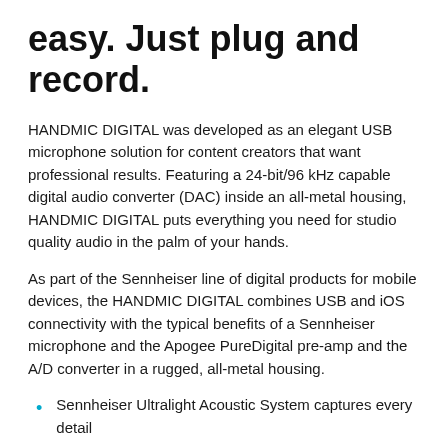easy. Just plug and record.
HANDMIC DIGITAL was developed as an elegant USB microphone solution for content creators that want professional results. Featuring a 24-bit/96 kHz capable digital audio converter (DAC) inside an all-metal housing, HANDMIC DIGITAL puts everything you need for studio quality audio in the palm of your hands.
As part of the Sennheiser line of digital products for mobile devices, the HANDMIC DIGITAL combines USB and iOS connectivity with the typical benefits of a Sennheiser microphone and the Apogee PureDigital pre-amp and the A/D converter in a rugged, all-metal housing.
Sennheiser Ultralight Acoustic System captures every detail
Digital Audio with Apogee PureDigital pre-amp and A/D converter